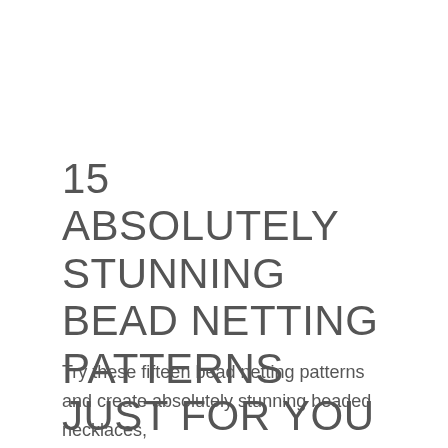15 ABSOLUTELY STUNNING BEAD NETTING PATTERNS JUST FOR YOU
Try these fifteen bead netting patterns and create absolutely stunning beaded necklaces,